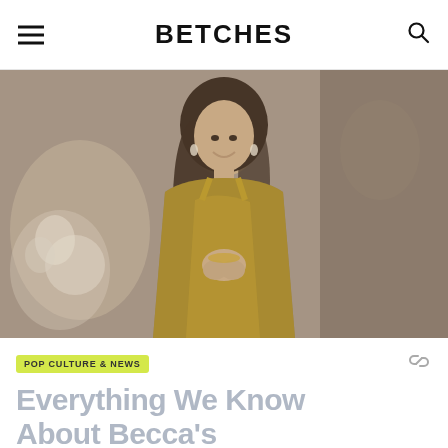BETCHES
[Figure (photo): Woman with long dark hair wearing a gold/metallic dress, smiling with hands clasped, standing in front of a blurred event backdrop with flowers and decorations.]
POP CULTURE & NEWS
Everything We Know About Becca's